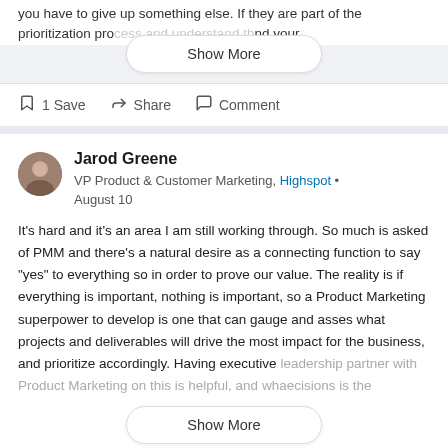you have to give up something else. If they are part of the prioritization pro... nd your
Show More
1 Save   Share   Comment
Jarod Greene
VP Product & Customer Marketing, Highspot • August 10
It's hard and it's an area I am still working through. So much is asked of PMM and there's a natural desire as a connecting function to say "yes" to everything so in order to prove our value. The reality is if everything is important, nothing is important, so a Product Marketing superpower to develop is one that can gauge and asses what projects and deliverables will drive the most impact for the business, and prioritize accordingly. Having executive leadership partner with Product Marketing on this is helpful, and wha... ecisions is the
Show More